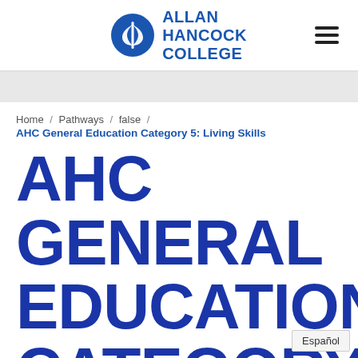[Figure (logo): Allan Hancock College logo with circular emblem and blue text]
Home / Pathways / false / AHC General Education Category 5: Living Skills
AHC GENERAL EDUCATION CATEGORY 5...